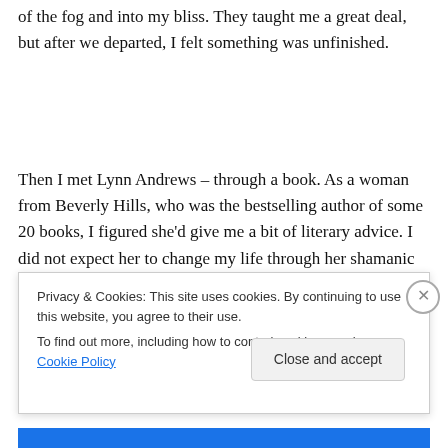of the fog and into my bliss. They taught me a great deal, but after we departed, I felt something was unfinished.
Then I met Lynn Andrews – through a book. As a woman from Beverly Hills, who was the bestselling author of some 20 books, I figured she'd give me a bit of literary advice. I did not expect her to change my life through her shamanic school. At that time, I had never even heard of Lynn Andrews, the …
Privacy & Cookies: This site uses cookies. By continuing to use this website, you agree to their use.
To find out more, including how to control cookies, see here: Cookie Policy